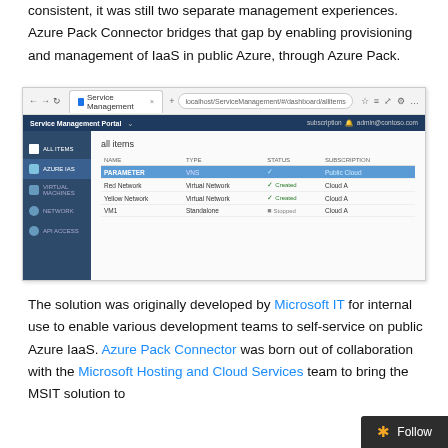consistent, it was still two separate management experiences. Azure Pack Connector bridges that gap by enabling provisioning and management of IaaS in public Azure, through Azure Pack.
[Figure (screenshot): Screenshot of the Azure Service Management Portal browser window showing 'all items' view with a table listing PARAMETER, Red Network, Yellow Network, and VM1 entries with TYPE, STATUS, and SUBSCRIPTION columns.]
The solution was originally developed by Microsoft IT for internal use to enable various development teams to self-service on public Azure IaaS. Azure Pack Connector was born out of collaboration with the Microsoft Hosting and Cloud Services team to bring the MSIT solution to